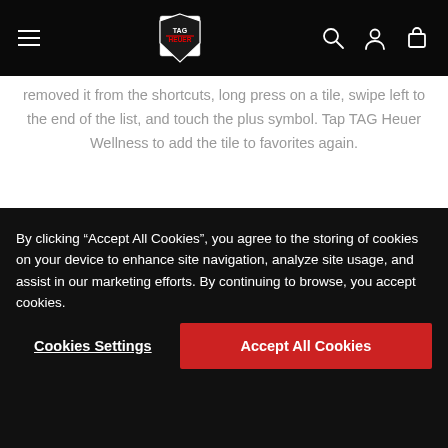TAG Heuer navigation bar with hamburger menu, logo, search, account, and cart icons
removed it from the shortcuts, long press on a tile, swipe left to the end of the list, and touch the plus symbol. Tap TAG Heuer Wellness to add the tile to favorites again.
[Figure (photo): image4 placeholder image]
STEP 4
By clicking “Accept All Cookies”, you agree to the storing of cookies on your device to enhance site navigation, analyze site usage, and assist in our marketing efforts. By continuing to browse, you accept cookies.
Cookies Settings | Accept All Cookies